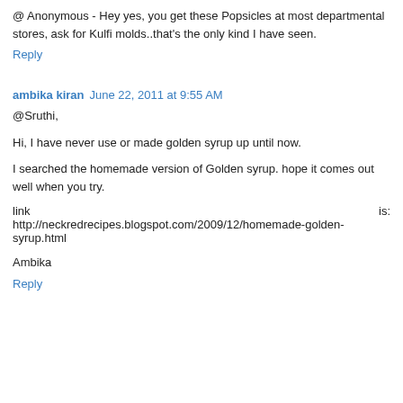@ Anonymous - Hey yes, you get these Popsicles at most departmental stores, ask for Kulfi molds..that's the only kind I have seen.
Reply
ambika kiran  June 22, 2011 at 9:55 AM
@Sruthi,
Hi, I have never use or made golden syrup up until now.
I searched the homemade version of Golden syrup. hope it comes out well when you try.
link                                                                                         is: http://neckredrecipes.blogspot.com/2009/12/homemade-golden-syrup.html
Ambika
Reply